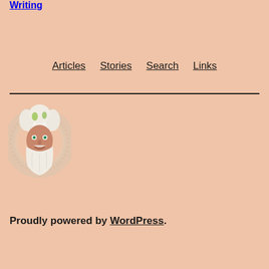Writing
Articles  Stories  Search  Links
[Figure (illustration): A cartoon wizard/sage face with white hair, green highlights, white beard, and decorative circular halo or aura around the head]
Proudly powered by WordPress.